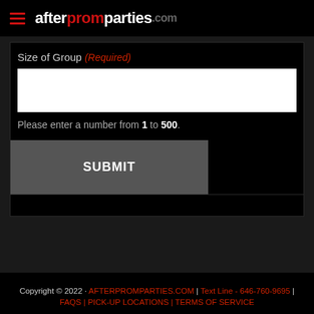[Figure (logo): afterpromparties.com logo with hamburger menu icon on black header]
Size of Group (Required)
Please enter a number from 1 to 500.
SUBMIT
Copyright © 2022 · AFTERPROMPARTIES.COM | Text Line - 646-760-9695 | FAQS | PICK-UP LOCATIONS | TERMS OF SERVICE